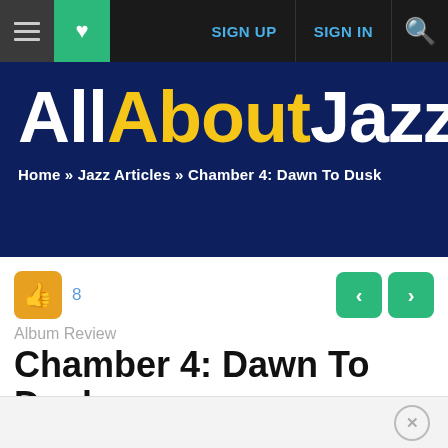AllAboutJazz — SIGN UP  SIGN IN
[Figure (logo): AllAboutJazz logo on dark navy blue background with breadcrumb navigation: Home » Jazz Articles » Chamber 4: Dawn To Dusk]
8
Album Review
Chamber 4: Dawn To Dusk